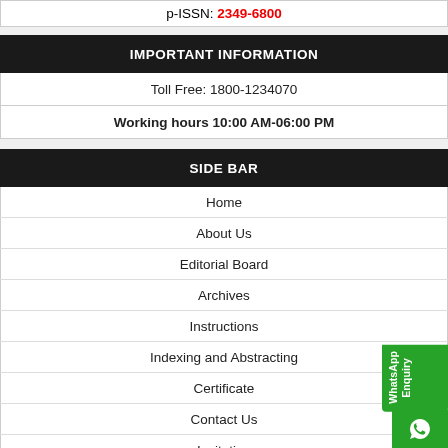p-ISSN: 2349-6800
IMPORTANT INFORMATION
| Toll Free: 1800-1234070 |
| Working hours 10:00 AM-06:00 PM |
SIDE BAR
Home
About Us
Editorial Board
Archives
Instructions
Indexing and Abstracting
Certificate
Contact Us
Invitation
Open Access